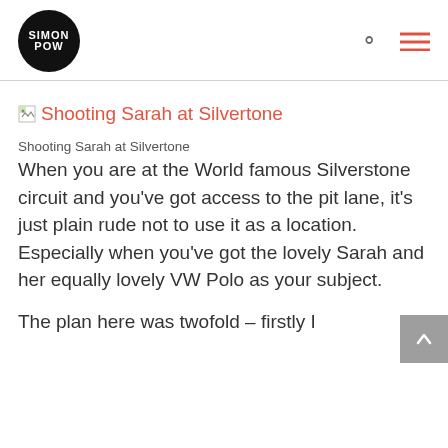SIMON POW
[Figure (other): Broken image icon followed by red link text: Shooting Sarah at Silvertone]
Shooting Sarah at Silvertone
When you are at the World famous Silverstone circuit and you've got access to the pit lane, it's just plain rude not to use it as a location. Especially when you've got the lovely Sarah and her equally lovely VW Polo as your subject.
The plan here was twofold – firstly I